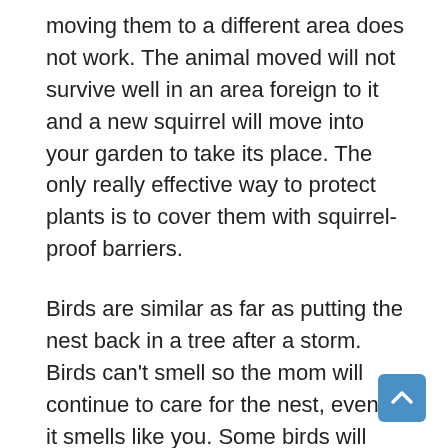moving them to a different area does not work. The animal moved will not survive well in an area foreign to it and a new squirrel will move into your garden to take its place. The only really effective way to protect plants is to cover them with squirrel-proof barriers.
Birds are similar as far as putting the nest back in a tree after a storm. Birds can't smell so the mom will continue to care for the nest, even if it smells like you. Some birds will give you a nasty peck, so gloves are advised if you find an injured one. They should be placed in a brown paper bag to transport. No water or food is necessary. Clip the top shut and take it to a nature center. You may find fully feathered babies on the ground that appear to be struggling. They are usually fledglings that mom has decided are old enough to fly. Leave them alone, keep everyone away from them and check on them in an